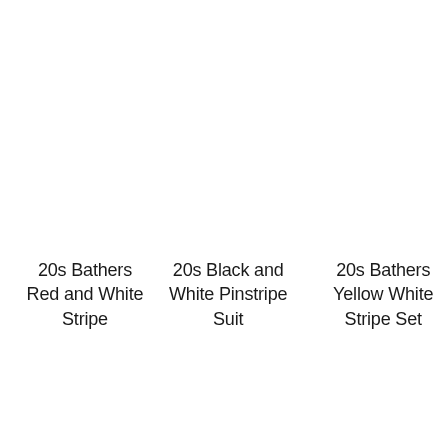20s Bathers Red and White Stripe
20s Black and White Pinstripe Suit
20s Bathers Yellow White Stripe Set